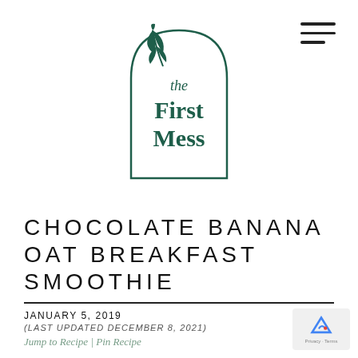[Figure (logo): The First Mess logo: an arch-shaped border with a leaf/plant illustration in dark teal, with italic 'the' in script and 'First Mess' in bold serif text below]
CHOCOLATE BANANA OAT BREAKFAST SMOOTHIE
JANUARY 5, 2019
(LAST UPDATED DECEMBER 8, 2021)
Jump to Recipe | Pin Recipe